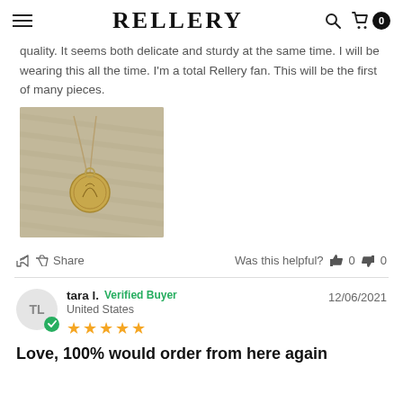RELLERY
quality. It seems both delicate and sturdy at the same time. I will be wearing this all the time. I'm a total Rellery fan. This will be the first of many pieces.
[Figure (photo): Photo of a gold coin-style necklace pendant on a fabric surface]
Share    Was this helpful?  👍 0  👎 0
tara l.  Verified Buyer   12/06/2021
United States
★★★★★
Love, 100% would order from here again